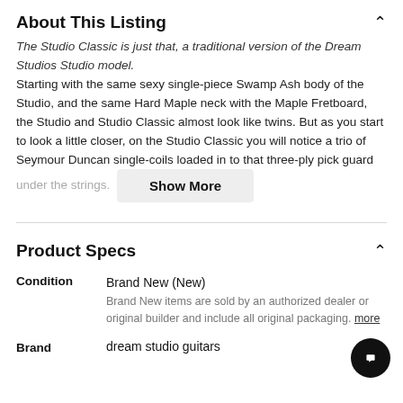About This Listing
The Studio Classic is just that, a traditional version of the Dream Studios Studio model.
Starting with the same sexy single-piece Swamp Ash body of the Studio, and the same Hard Maple neck with the Maple Fretboard, the Studio and Studio Classic almost look like twins. But as you start to look a little closer, on the Studio Classic you will notice a trio of Seymour Duncan single-coils loaded in to that three-ply pick guard under the strings.
Product Specs
|  |  |
| --- | --- |
| Condition | Brand New (New)
Brand New items are sold by an authorized dealer or original builder and include all original packaging. more |
| Brand | dream studio guitars |